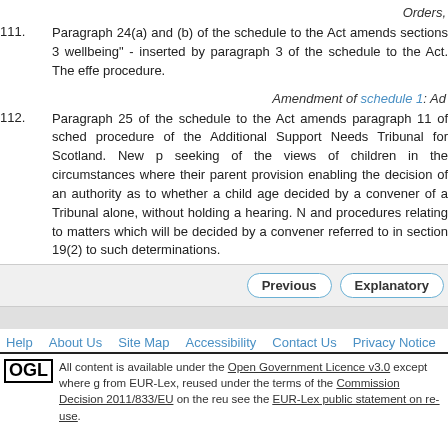Orders,
111. Paragraph 24(a) and (b) of the schedule to the Act amends sections 3 wellbeing" - inserted by paragraph 3 of the schedule to the Act. The effe procedure.
Amendment of schedule 1: Ad
112. Paragraph 25 of the schedule to the Act amends paragraph 11 of sched procedure of the Additional Support Needs Tribunal for Scotland. New p seeking of the views of children in the circumstances where their parent provision enabling the decision of an authority as to whether a child age decided by a convener of a Tribunal alone, without holding a hearing. N and procedures relating to matters which will be decided by a convener referred to in section 19(2) to such determinations.
Previous | Explanatory
Help  About Us  Site Map  Accessibility  Contact Us  Privacy Notice
OGL All content is available under the Open Government Licence v3.0 except where g from EUR-Lex, reused under the terms of the Commission Decision 2011/833/EU on the reu see the EUR-Lex public statement on re-use.